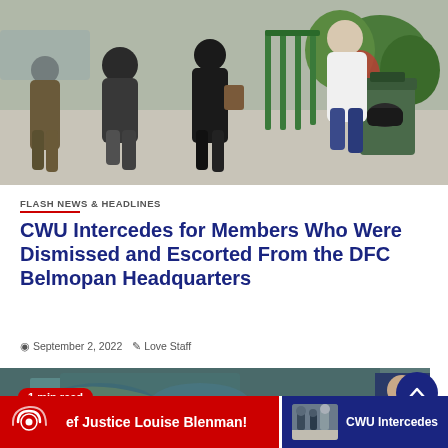[Figure (photo): People walking through a gate area with greenery and a large green trash bin visible. Shot from behind showing several individuals carrying bags.]
FLASH NEWS & HEADLINES
CWU Intercedes for Members Who Were Dismissed and Escorted From the DFC Belmopan Headquarters
September 2, 2022   Love Staff
[Figure (photo): Second article thumbnail showing a satellite map or aerial view image with a person partially visible on the right side.]
1 min read
ef Justice Louise Blenman!   CWU Intercedes